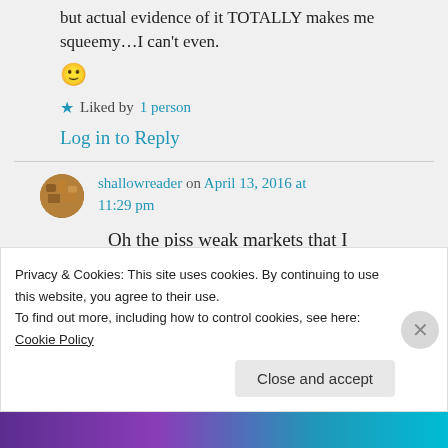but actual evidence of it TOTALLY makes me squeemy…I can't even.
🙂
★ Liked by 1 person
Log in to Reply
shallowreader on April 13, 2016 at 11:29 pm
Oh the piss weak markets that I
Privacy & Cookies: This site uses cookies. By continuing to use this website, you agree to their use.
To find out more, including how to control cookies, see here: Cookie Policy
Close and accept